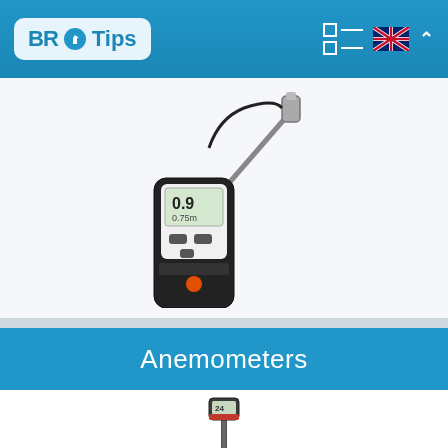BR Tips
[Figure (photo): Handheld anemometer/air velocity meter (black device) with a long probe extending to the right, showing digital display with reading 0.9 and 0.75]
Anemometers
[Figure (photo): Handheld vane anemometer on a telescoping pole, partially shown at bottom of page]